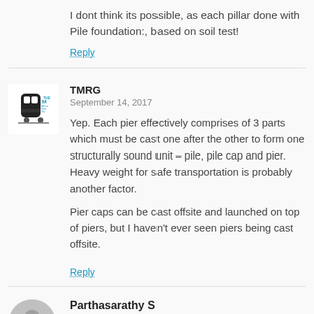I dont think its possible, as each pillar done with Pile foundation:, based on soil test!
Reply
TMRG
September 14, 2017
Yep. Each pier effectively comprises of 3 parts which must be cast one after the other to form one structurally sound unit – pile, pile cap and pier. Heavy weight for safe transportation is probably another factor.
Pier caps can be cast offsite and launched on top of piers, but I haven't ever seen piers being cast offsite.
Reply
Parthasarathy S
September 14, 2017